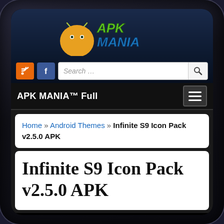[Figure (screenshot): APK MANIA website screenshot on a mobile phone showing logo with Android robot mascot, RSS and Facebook buttons, search bar, site navigation bar with 'APK MANIA™ Full' title and hamburger menu, breadcrumb navigation, and page title 'Infinite S9 Icon Pack v2.5.0 APK']
APK MANIA™ Full
Home » Android Themes » Infinite S9 Icon Pack v2.5.0 APK
Infinite S9 Icon Pack v2.5.0 APK